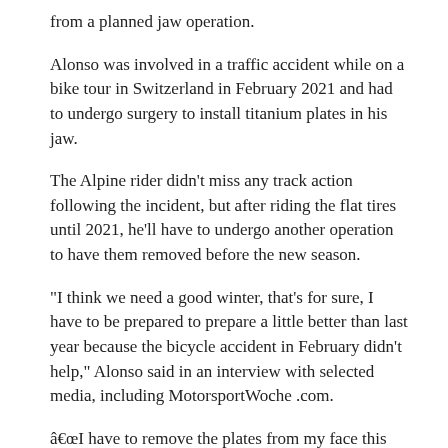from a planned jaw operation.
Alonso was involved in a traffic accident while on a bike tour in Switzerland in February 2021 and had to undergo surgery to install titanium plates in his jaw.
The Alpine rider didn't miss any track action following the incident, but after riding the flat tires until 2021, he'll have to undergo another operation to have them removed before the new season.
“I think we need a good winter, that’s for sure, I have to be prepared to prepare a little better than last year because the bicycle accident in February didn’t help,” Alonso said in an interview with selected media, including MotorsportWoche .com.
â€œI have to remove the plates from my face this January, so I have two weeks off in January, but I’ve probably had those weeks without the surgery anyway as it’s time to relax.
â€œBut then we have to go into the winter tests with a good program, both physically and in the car, and prepare ourselves. And